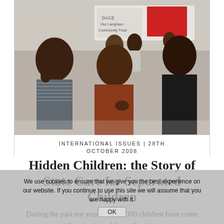[Figure (photo): Black and white/color photograph of a group of young people at what appears to be a public gathering or protest. A man in a striped shirt is on the left, a woman in a rust/brown sweater is in the center, and a woman in a black top is on the right. Banners are visible in the background.]
INTERNATIONAL ISSUES | 28TH OCTOBER 2008
Hidden Children: the Story of State Care for Separated Children
During the past ten years, over 5,300 children have come to the attention of the authorities in
We use cookies to ensure that we give you the best experience on our website. If you continue to use this site we will assume that you are happy with it.